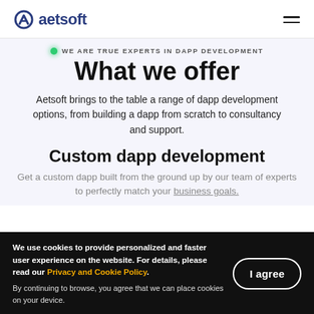aetsoft
WE ARE TRUE EXPERTS IN DAPP DEVELOPMENT
What we offer
Aetsoft brings to the table a range of dapp development options, from building a dapp from scratch to consultancy and support.
Custom dapp development
Get a custom dapp built from the ground up by our team of experts to perfectly match your business goals.
We use cookies to provide personalized and faster user experience on the website. For details, please read our Privacy and Cookie Policy. By continuing to browse, you agree that we can place cookies on your device.